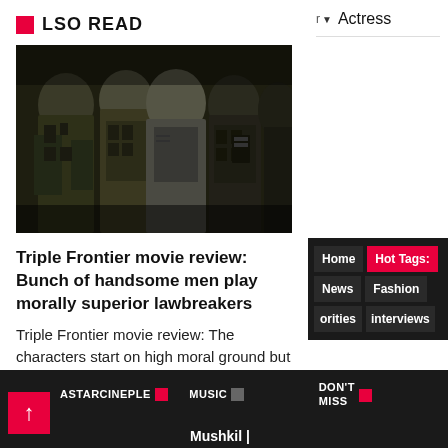ALSO READ
[Figure (photo): Group of men in military/tactical gear, movie still from Triple Frontier]
Triple Frontier movie review: Bunch of handsome men play morally superior lawbreakers
Triple Frontier movie review: The characters start on high moral ground but keep losing points as the film proceeds
r ▼ Actress
Home Hot Tags: News Fashion orities interviews
ASTARCINEPLE MUSIC DON'T MISS Mushkil |